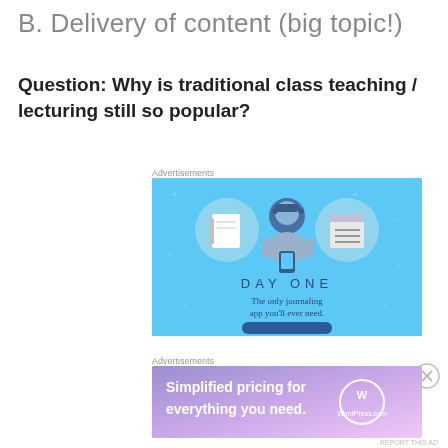B. Delivery of content (big topic!)
Question: Why is traditional class teaching / lecturing still so popular?
Advertisements
[Figure (illustration): Day One app advertisement on blue background showing a person holding a phone with two notebook icons and text 'DAY ONE - The only journaling app you'll ever need.']
Advertisements
[Figure (illustration): WordPress.com advertisement with purple/pink gradient background showing 'Simplified pricing for everything you need.' with WordPress.com logo]